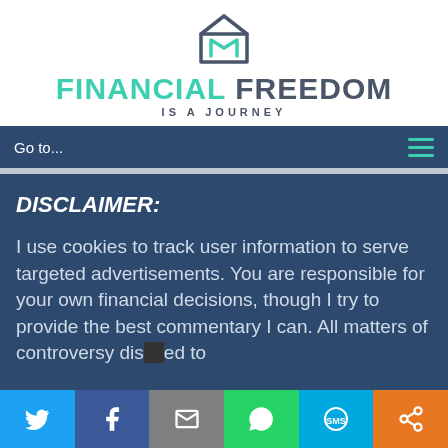[Figure (logo): Financial Freedom Is A Journey logo with geometric icon above text. 'FINANCIAL' in teal/green, 'FREEDOM' in dark gray, 'IS A JOURNEY' subtitle in dark gray uppercase.]
Go to...
DISCLAIMER:
I use cookies to track user information to serve targeted advertisements. You are responsible for your own financial decisions, though I try to provide the best commentary I can. All matters of controversy dis...ed to
[Figure (infographic): Social sharing bar with six buttons: Twitter (blue), Facebook (dark blue), Email (gray), WhatsApp (green), SMS (light blue), Share (orange)]